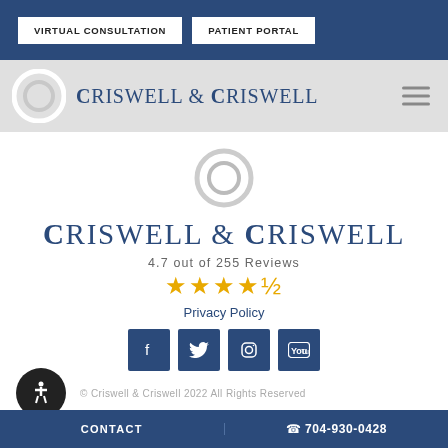VIRTUAL CONSULTATION | PATIENT PORTAL
[Figure (logo): Criswell & Criswell logo with circular C icon and text in navy blue, shown in navigation bar]
Criswell & Criswell
4.7 out of 255 Reviews
[Figure (infographic): 4.5 star rating shown as gold stars (4 full stars and 1 half star)]
Privacy Policy
[Figure (infographic): Social media icons: Facebook, Twitter, Instagram, YouTube - all in navy blue square buttons]
© Criswell & Criswell 2022 All Rights Reserved
CONTACT | 704-930-0428